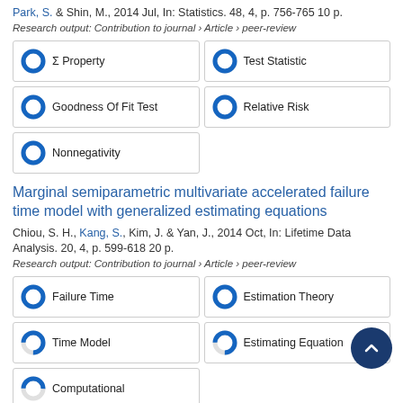Park, S. & Shin, M., 2014 Jul, In: Statistics. 48, 4, p. 756-765 10 p.
Research output: Contribution to journal › Article › peer-review
[Figure (infographic): Five keyword badges with donut/pie fill indicators: Σ Property 100%, Test Statistic 100%, Goodness Of Fit Test 100%, Relative Risk 100%, Nonnegativity 100%]
Marginal semiparametric multivariate accelerated failure time model with generalized estimating equations
Chiou, S. H., Kang, S., Kim, J. & Yan, J., 2014 Oct, In: Lifetime Data Analysis. 20, 4, p. 599-618 20 p.
Research output: Contribution to journal › Article › peer-review
[Figure (infographic): Five keyword badges with donut/pie fill indicators: Failure Time 100%, Estimation Theory 100%, Time Model ~75%, Estimating Equation ~75%, Computational ~50%]